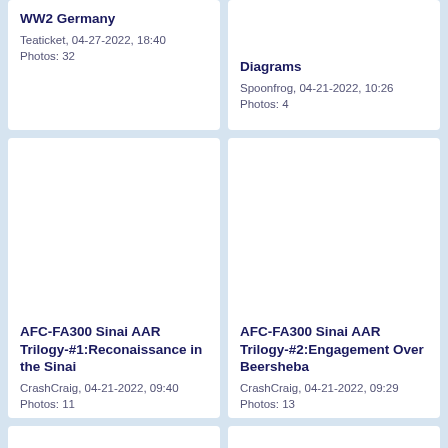WW2 Germany
Teaticket, 04-27-2022, 18:40
Photos: 32
Diagrams
Spoonfrog, 04-21-2022, 10:26
Photos: 4
AFC-FA300 Sinai AAR Trilogy-#1:Reconaissance in the Sinai
CrashCraig, 04-21-2022, 09:40
Photos: 11
AFC-FA300 Sinai AAR Trilogy-#2:Engagement Over Beersheba
CrashCraig, 04-21-2022, 09:29
Photos: 13